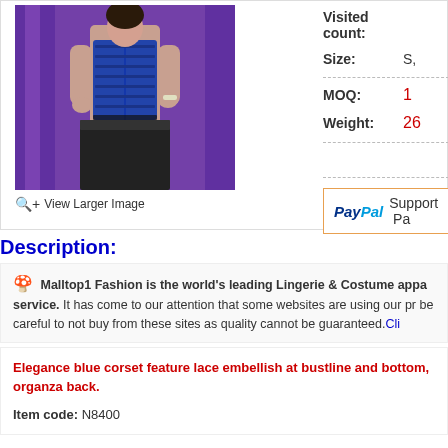[Figure (photo): Product photo of a woman wearing a blue and black lace corset dress against a purple curtain background]
View Larger Image
Visited count:
Size: S,
MOQ: 1
Weight: 26
PayPal Support Pa
Description:
Malltop1 Fashion is the world's leading Lingerie & Costume appa service. It has come to our attention that some websites are using our pr be careful to not buy from these sites as quality cannot be guaranteed. Cli
Elegance blue corset feature lace embellish at bustline and bottom, organza back.
Item code: N8400